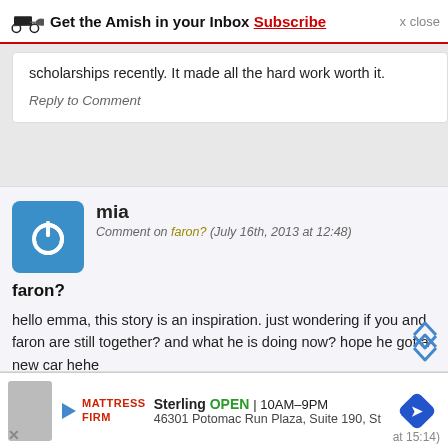Get the Amish in your Inbox Subscribe x close
scholarships recently. It made all the hard work worth it.
Reply to Comment
mia
Comment on faron? (July 16th, 2013 at 12:48)
faron?
hello emma, this story is an inspiration. just wondering if you and faron are still together? and what he is doing now? hope he got a new car hehe
Reply to Comment
Sterling OPEN 10AM–9PM 46301 Potomac Run Plaza, Suite 190, St